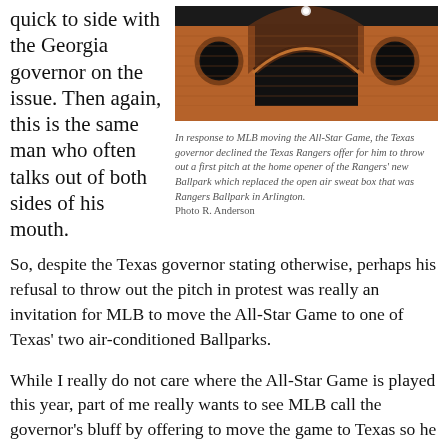quick to side with the Georgia governor on the issue. Then again, this is the same man who often talks out of both sides of his mouth.
[Figure (photo): Photo of the exterior of a baseball ballpark showing brick arched entrance and circular windows]
In response to MLB moving the All-Star Game, the Texas governor declined the Texas Rangers offer for him to throw out a first pitch at the home opener of the Rangers' new Ballpark which replaced the open air sweat box that was Rangers Ballpark in Arlington. Photo R. Anderson
So, despite the Texas governor stating otherwise, perhaps his refusal to throw out the pitch in protest was really an invitation for MLB to move the All-Star Game to one of Texas' two air-conditioned Ballparks.
While I really do not care where the All-Star Game is played this year, part of me really wants to see MLB call the governor's bluff by offering to move the game to Texas so he has to go on